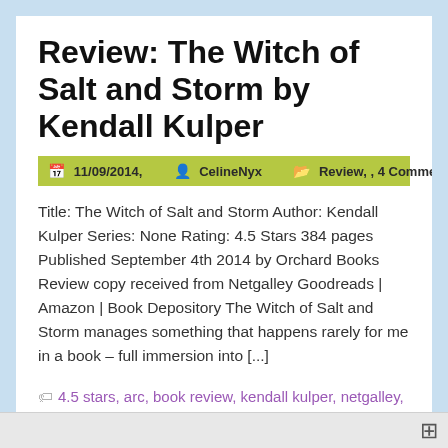Review: The Witch of Salt and Storm by Kendall Kulper
11/09/2014,   CelineNyx   Review, , 4 Comments
Title: The Witch of Salt and Storm Author: Kendall Kulper Series: None Rating: 4.5 Stars 384 pages Published September 4th 2014 by Orchard Books Review copy received from Netgalley Goodreads | Amazon | Book Depository The Witch of Salt and Storm manages something that happens rarely for me in a book – full immersion into [...]
4.5 stars, arc, book review, kendall kulper, netgalley, paranormal, review copy, romance, the witch of salt and storm, whaling, witches, young-adult